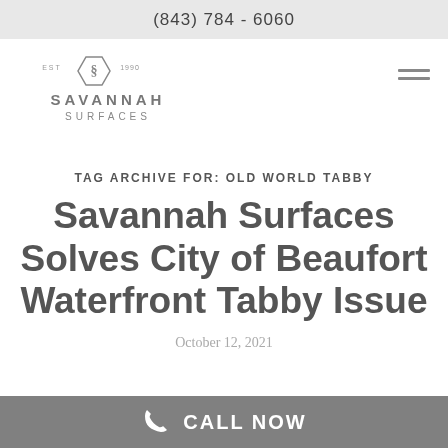(843) 784 - 6060
[Figure (logo): Savannah Surfaces logo with hexagon emblem, EST 1990, company name in spaced uppercase letters]
TAG ARCHIVE FOR: OLD WORLD TABBY
Savannah Surfaces Solves City of Beaufort Waterfront Tabby Issue
October 12, 2021
CALL NOW